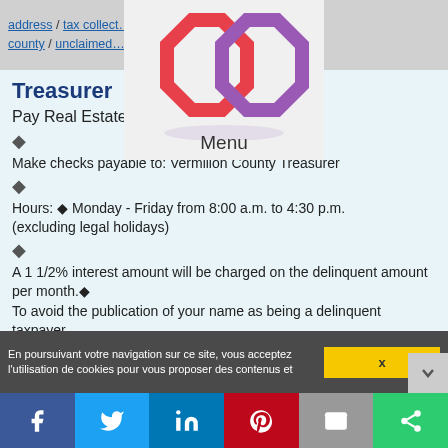address / tax collect... san bernardino county / unclaimed ... unty property tax bill
[Figure (logo): Linked rings logo in red and purple, overlapping octagonal shapes]
Menu
Treasurer
Pay Real Estate Taxes by Check
Make checks payable to: Vermilion County Treasurer
Hours: Monday - Friday from 8:00 a.m. to 4:30 p.m. (excluding legal holidays)
A 1 1/2% interest amount will be charged on the delinquent amount per month.
To avoid the publication of your name as being a delinquent taxpayer,
En poursuivant votre navigation sur ce site, vous acceptez l'utilisation de cookies pour vous proposer des contenus et